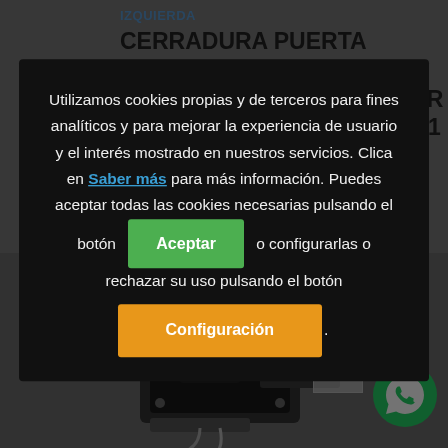IZQUIERDA
CERRADURA PUERTA DELANTERA IZQUIERDA MERCEDES-BENZ SPRINTER 3.5-t Furgón 315 CDI (906.631
[Figure (photo): Photo of a car door lock mechanism for Mercedes-Benz Sprinter]
Utilizamos cookies propias y de terceros para fines analíticos y para mejorar la experiencia de usuario y el interés mostrado en nuestros servicios. Clica en Saber más para más información. Puedes aceptar todas las cookies necesarias pulsando el botón Aceptar o configurarlas o rechazar su uso pulsando el botón Configuración.